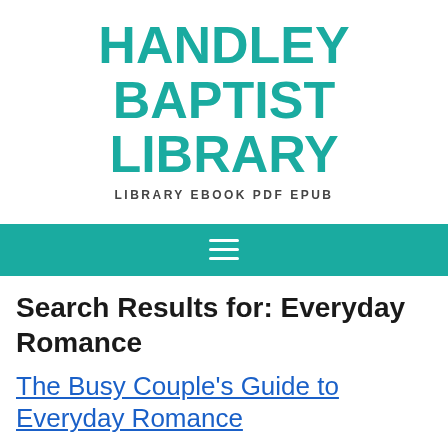HANDLEY BAPTIST LIBRARY
LIBRARY EBOOK PDF EPUB
[Figure (other): Teal navigation bar with hamburger menu icon (three horizontal white lines)]
Search Results for: Everyday Romance
The Busy Couple's Guide to Everyday Romance